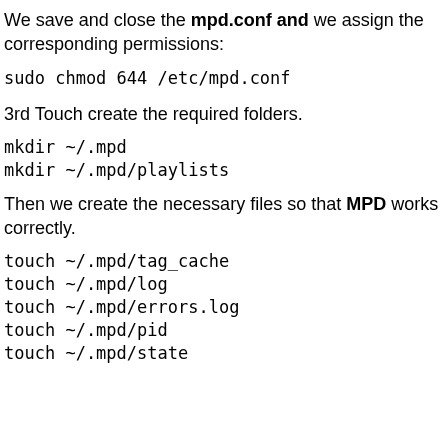We save and close the mpd.conf and we assign the corresponding permissions:
sudo chmod 644 /etc/mpd.conf
3rd Touch create the required folders.
mkdir ~/.mpd
mkdir ~/.mpd/playlists
Then we create the necessary files so that MPD works correctly.
touch ~/.mpd/tag_cache
touch ~/.mpd/log
touch ~/.mpd/errors.log
touch ~/.mpd/pid
touch ~/.mpd/state